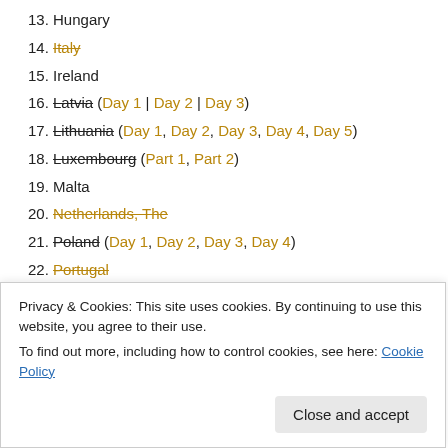13. Hungary
14. Italy (strikethrough, orange link)
15. Ireland
16. Latvia (Day 1 | Day 2 | Day 3)
17. Lithuania (Day 1, Day 2, Day 3, Day 4, Day 5)
18. Luxembourg (Part 1, Part 2)
19. Malta
20. Netherlands, The (strikethrough orange)
21. Poland (Day 1, Day 2, Day 3, Day 4)
22. Portugal (strikethrough orange)
23. Slovakia
24. Slovenia (strikethrough orange)
25. Spain (Day 1, Day 2, Day 3, Day 4)
Privacy & Cookies: This site uses cookies. By continuing to use this website, you agree to their use. To find out more, including how to control cookies, see here: Cookie Policy